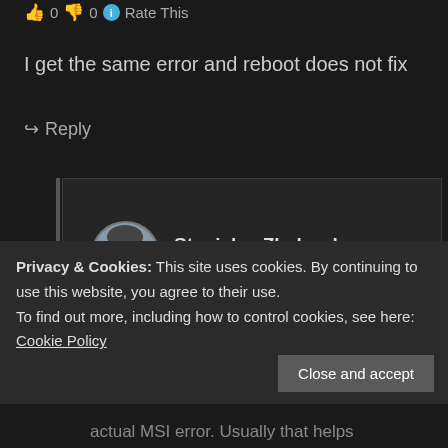👍 0 👎 0 ℹ️ Rate This
I get the same error and reboot does not fix
↪ Reply
Stanislav Zhelyazkov
April 29, 2014 at 15:57
👍 0 👎 0 ℹ️ Rate This
Privacy & Cookies: This site uses cookies. By continuing to use this website, you agree to their use.
To find out more, including how to control cookies, see here: Cookie Policy
Close and accept
actual MSI error. Usually that helps